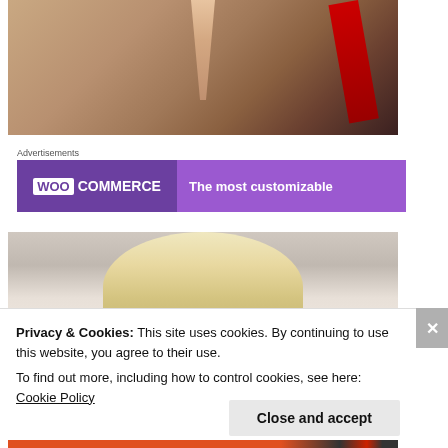[Figure (illustration): Cropped digital illustration showing a figure in a tan/beige outfit with a V-neckline and red accent elements in the upper right, cropped at the torso level.]
Advertisements
[Figure (screenshot): WooCommerce advertisement banner split into two sections: left dark purple with WooCommerce logo (white WOO box + COMMERCE text), right lighter purple with text 'The most customizable']
[Figure (illustration): Cropped digital illustration showing the top of a blonde-haired figure's head against a light grey/mauve background.]
Privacy & Cookies: This site uses cookies. By continuing to use this website, you agree to their use.
To find out more, including how to control cookies, see here: Cookie Policy
Close and accept